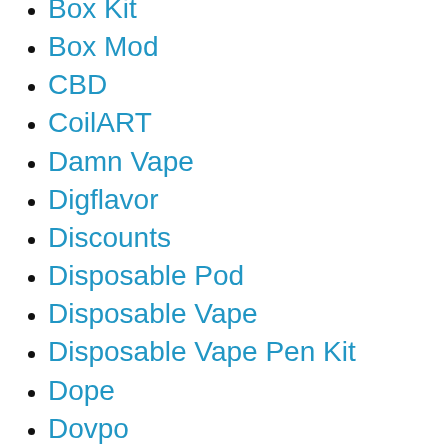Box Kit
Box Mod
CBD
CoilART
Damn Vape
Digflavor
Discounts
Disposable Pod
Disposable Vape
Disposable Vape Pen Kit
Dope
Dovpo
Dual Coil RDA
E cigarettes
E Juice
Eleaf
Elf Bar